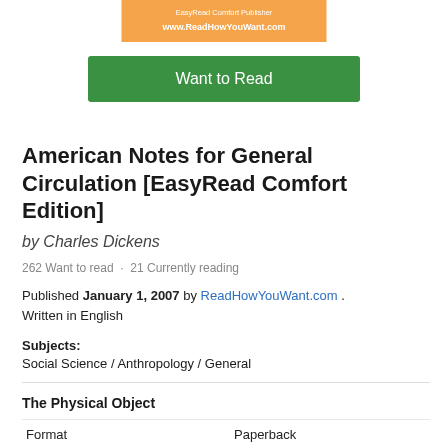[Figure (other): Orange banner with EasyRead Comfort Publisher text and www.ReadHowYouWant.com URL]
Want to Read
American Notes for General Circulation [EasyRead Comfort Edition]
by Charles Dickens
262 Want to read · 21 Currently reading
Published January 1, 2007 by ReadHowYouWant.com . Written in English
Subjects: Social Science / Anthropology / General
The Physical Object
|  |  |
| --- | --- |
| Format | Paperback |
| Number of Pages | 448 |
ID Numbers